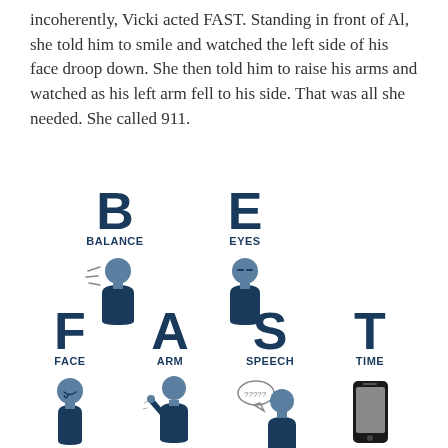incoherently, Vicki acted FAST. Standing in front of Al, she told him to smile and watched the left side of his face droop down. She then told him to raise his arms and watched as his left arm fell to his side. That was all she needed. She called 911.
[Figure (infographic): BEFAST stroke awareness infographic showing two rows: top row B (Balance) and E (Eyes) with person icons, bottom row F (Face), A (Arm), S (Speech), T (Time) with icons showing symptoms and a phone]